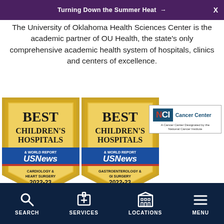Turning Down the Summer Heat →  X
The University of Oklahoma Health Sciences Center is the academic partner of OU Health, the state's only comprehensive academic health system of hospitals, clinics and centers of excellence.
[Figure (logo): U.S. News & World Report Best Children's Hospitals badge — Cardiology & Heart Surgery 2022-23]
[Figure (logo): U.S. News & World Report Best Children's Hospitals badge — Gastroenterology & GI Surgery 2022-23]
[Figure (logo): NCI Cancer Center — A Cancer Center Designated by the National Cancer Institute]
SEARCH   SERVICES   LOCATIONS   MENU